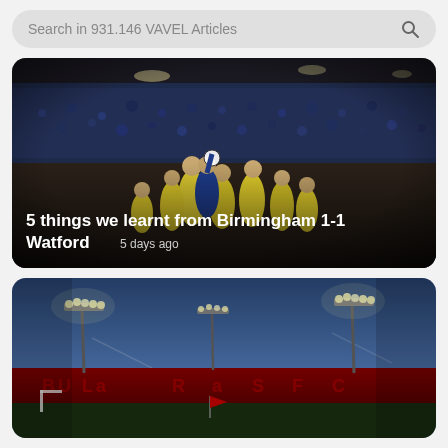Search in 931.146 VAVEL Articles
[Figure (photo): Football match scene at night stadium with players in yellow and blue jerseys competing for a header, crowd in background]
5 things we learnt from Birmingham 1-1 Watford  5 days ago
[Figure (photo): Empty football stadium at night with floodlights illuminated, red corner flag visible, stadium signage visible on stands]